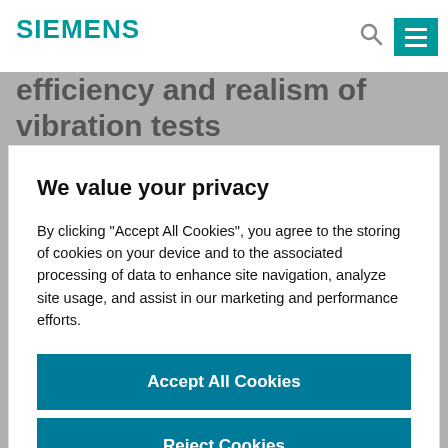SIEMENS
efficiency and realism of vibration tests
We value your privacy
By clicking “Accept All Cookies”, you agree to the storing of cookies on your device and to the associated processing of data to enhance site navigation, analyze site usage, and assist in our marketing and performance efforts.
Accept All Cookies
Reject Cookies
Manage Preferences